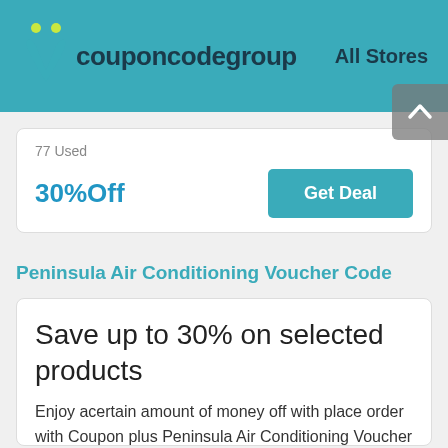couponcodegroup  All Stores
77 Used
30%Off
Get Deal
Peninsula Air Conditioning Voucher Code
Save up to 30% on selected products
Enjoy acertain amount of money off with place order with Coupon plus Peninsula Air Conditioning Voucher Code. Get low prices on discontinued products with